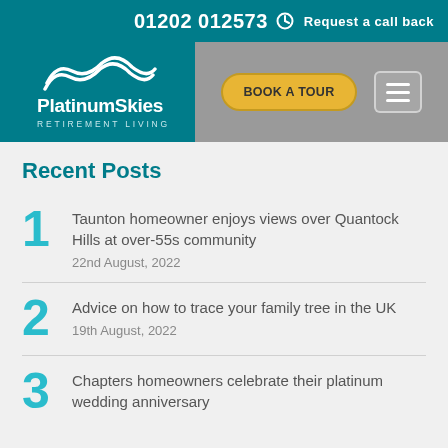01202 012573  Request a call back
[Figure (logo): Platinum Skies Retirement Living logo with swoosh graphic on teal background]
[Figure (screenshot): Navigation bar with BOOK A TOUR button and hamburger menu]
Recent Posts
1  Taunton homeowner enjoys views over Quantock Hills at over-55s community  22nd August, 2022
2  Advice on how to trace your family tree in the UK  19th August, 2022
3  Chapters homeowners celebrate their platinum wedding anniversary